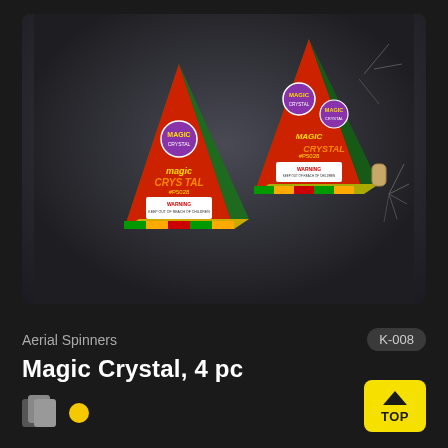[Figure (photo): Four pyramid-shaped Magic Crystal firework packages in red and green packaging with yellow accents, arranged in a group against a dark gray background]
Aerial Spinners
K-008
Magic Crystal, 4 pc